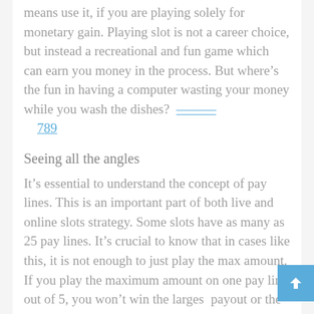means use it, if you are playing solely for monetary gain. Playing slot is not a career choice, but instead a recreational and fun game which can earn you money in the process. But where's the fun in having a computer wasting your money while you wash the dishes? 789
Seeing all the angles
It's essential to understand the concept of pay lines. This is an important part of both live and online slots strategy. Some slots have as many as 25 pay lines. It's crucial to know that in cases like this, it is not enough to just play the max amount. If you play the maximum amount on one pay line out of 5, you won't win the largest payout or the progressive jackpot. To hit the biggest payouts possible, you must play not only